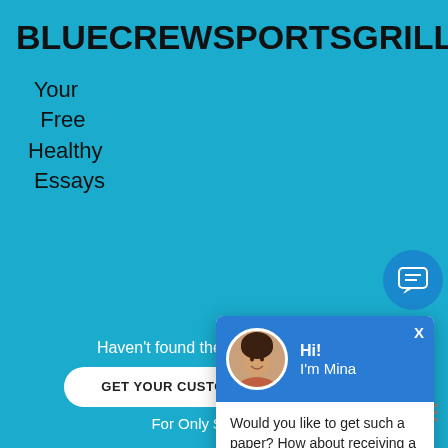BLUECREWSPORTSGRILL
Your
 Free
Healthy
 Essays
[Figure (screenshot): Chat popup widget with avatar of woman named Mina, blue header, text 'Would you like to get such a paper? How about receiving a customized one?' with 'Check it out' underlined link, X close button]
HOME / ARTICLES / THE CURRENT PHARMACEUTI... / ECONOMICS ESSAY
THE CURRE...
Haven't found the Essay You Want?
GET YOUR CUSTOM ESSAY SAMPLE
For Only $13.90/page